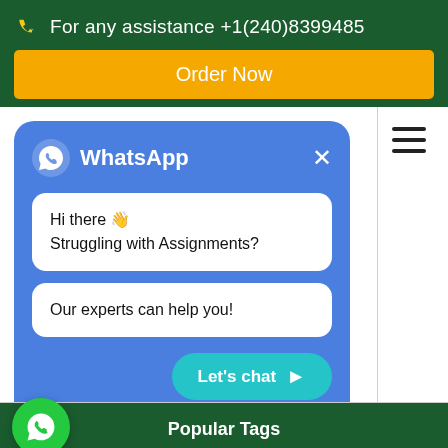For any assistance +1(240)8399485
Order Now
[Figure (screenshot): WhatsApp chat popup card with blue background showing two message bubbles: 'Hi there 👋 Struggling with Assignments?' and 'Our experts can help you!' with a teal 'Let's chat ➤' button at the bottom right]
Popular Tags